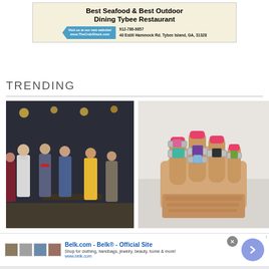[Figure (other): Advertisement for The Crab Shack restaurant - Best Seafood & Best Outdoor Dining Tybee Restaurant. Phone: 912-786-9857. Address: 40 Estill Hammock Rd. Tybee Island, GA, 31328. Website: www.TheCrabShack.com]
TRENDING
[Figure (photo): Theater stage scene with actors in costume - appears to be a musical production with characters in 1940s style clothing including a sailor, performers with red armband, and a woman in yellow dress]
[Figure (photo): Close-up photo of a hand making a fist wearing multiple ornate silver rings with colorful gemstones including turquoise, purple amethyst, blue topaz, black onyx, and green peridot, with pink painted nails]
[Figure (other): Advertisement for Belk.com - Belk Official Site. Shop for clothing, handbags, jewelry, beauty, home & more! www.belk.com]